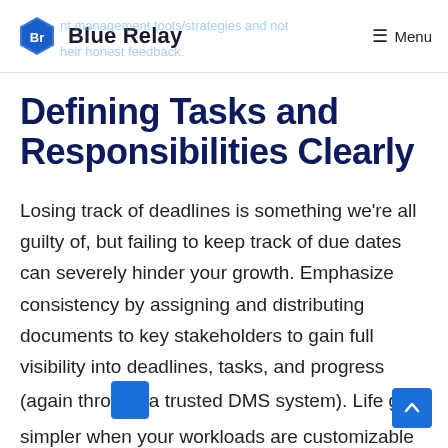Blue Relay | Menu
Defining Tasks and Responsibilities Clearly
Losing track of deadlines is something we're all guilty of, but failing to keep track of due dates can severely hinder your growth. Emphasize consistency by assigning and distributing documents to key stakeholders to gain full visibility into deadlines, tasks, and progress (again through a trusted DMS system). Life gets simpler when your workloads are customizable and adaptable, as